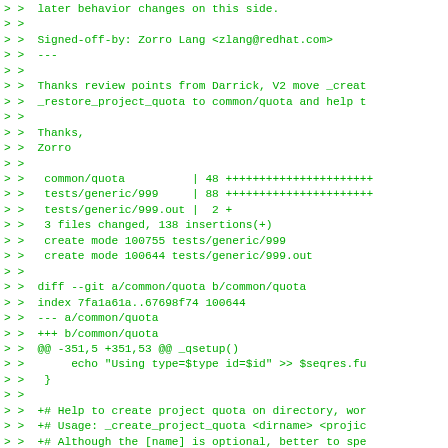> >  later behavior changes on this side.
> >
> >  Signed-off-by: Zorro Lang <zlang@redhat.com>
> >  ---
> >
> >  Thanks review points from Darrick, V2 move _creat
> >  _restore_project_quota to common/quota and help t
> >
> >  Thanks,
> >  Zorro
> >
> >   common/quota          | 48 +++++++++++++++++++++-
> >   tests/generic/999     | 88 +++++++++++++++++++++-
> >   tests/generic/999.out |  2 +
> >   3 files changed, 138 insertions(+)
> >   create mode 100755 tests/generic/999
> >   create mode 100644 tests/generic/999.out
> >
> >  diff --git a/common/quota b/common/quota
> >  index 7fa1a61a..67698f74 100644
> >  --- a/common/quota
> >  +++ b/common/quota
> >  @@ -351,5 +351,53 @@ _qsetup()
> >       echo "Using type=$type id=$id" >> $seqres.fu
> >   }
> >
> >  +# Help to create project quota on directory, wor
> >  +# Usage: _create_project_quota <dirname> <projic
> >  +# Although the [name] is optional, better to spe
> >  +_create_project_quota()
> >  +{